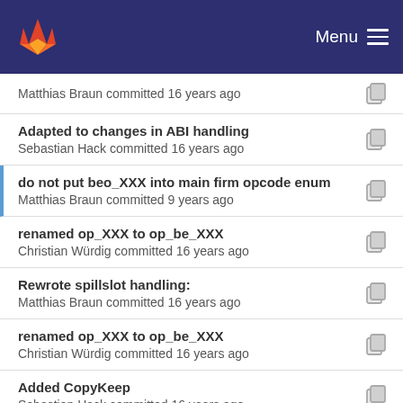Menu
Matthias Braun committed 16 years ago
Adapted to changes in ABI handling
Sebastian Hack committed 16 years ago
do not put beo_XXX into main firm opcode enum
Matthias Braun committed 9 years ago
renamed op_XXX to op_be_XXX
Christian Würdig committed 16 years ago
Rewrote spillslot handling:
Matthias Braun committed 16 years ago
renamed op_XXX to op_be_XXX
Christian Würdig committed 16 years ago
Added CopyKeep
Sebastian Hack committed 16 years ago
renamed op_XXX to op_be_XXX
Christian Würdig committed 16 years ago
Imprint